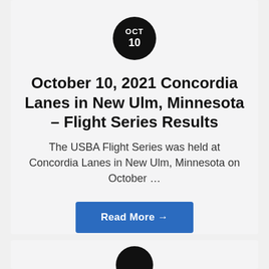[Figure (other): Black circular date badge showing OCT / 10]
October 10, 2021 Concordia Lanes in New Ulm, Minnesota – Flight Series Results
The USBA Flight Series was held at Concordia Lanes in New Ulm, Minnesota on October …
Read More →